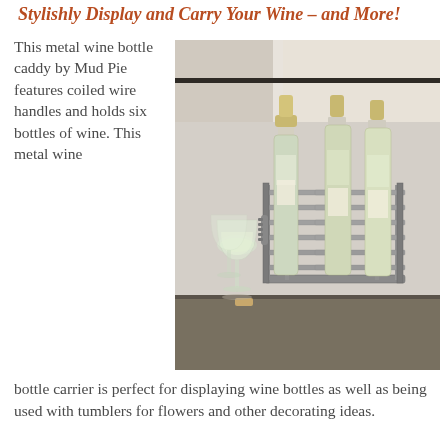Stylishly Display and Carry Your Wine – and More!
This metal wine bottle caddy by Mud Pie features coiled wire handles and holds six bottles of wine. This metal wine bottle carrier is perfect for displaying wine bottles as well as being used with tumblers for flowers and other decorating ideas.
[Figure (photo): Metal wine bottle caddy by Mud Pie with coiled wire handles holding multiple wine bottles, shown on a stone surface with wine glasses beside it.]